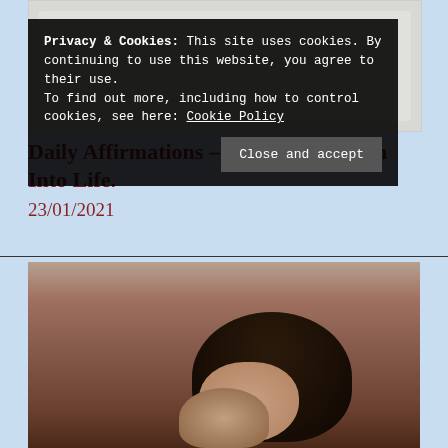[Figure (photo): A partially visible photograph placeholder / grayscale image at the top of the page]
Daily Affirmations – Putting Intention Into Life.
23/01/2021
[Figure (photo): Colorized vintage portrait photograph of a person with dark hair, partially obscured by a cookie consent banner]
Privacy & Cookies: This site uses cookies. By continuing to use this website, you agree to their use.
To find out more, including how to control cookies, see here: Cookie Policy
Close and accept